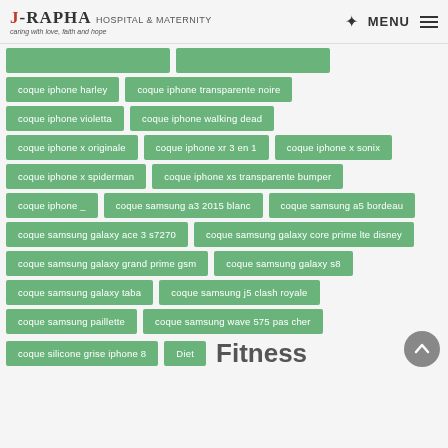J-RAPHA HOSPITAL & MATERNITY — caring with love, faith and hope — MENU
coque iphone harley
coque iphone transparente noire
coque iphone violetta
coque iphone walking dead
coque iphone x originale
coque iphone xr 3 en 1
coque iphone x sonix
coque iphone x spiderman
coque iphone xs transparente bumper
coque iphone _
coque samsung a3 2015 blanc
coque samsung a5 bordeau
coque samsung galaxy ace 3 s7270
coque samsung galaxy core prime lte disney
coque samsung galaxy grand prime gsm
coque samsung galaxy s8
coque samsung galaxy taba
coque samsung j5 clash royale
coque samsung paillette
coque samsung wave 575 pas cher
coque silicone grise iphone 8
Diet
Fitness